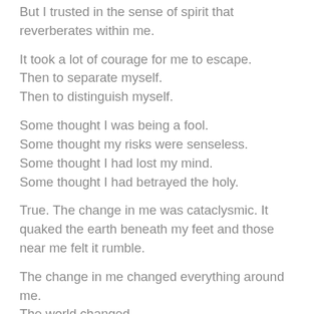But I trusted in the sense of spirit that reverberates within me.
It took a lot of courage for me to escape.
Then to separate myself.
Then to distinguish myself.
Some thought I was being a fool.
Some thought my risks were senseless.
Some thought I had lost my mind.
Some thought I had betrayed the holy.
True. The change in me was cataclysmic. It quaked the earth beneath my feet and those near me felt it rumble.
The change in me changed everything around me.
The world changed.